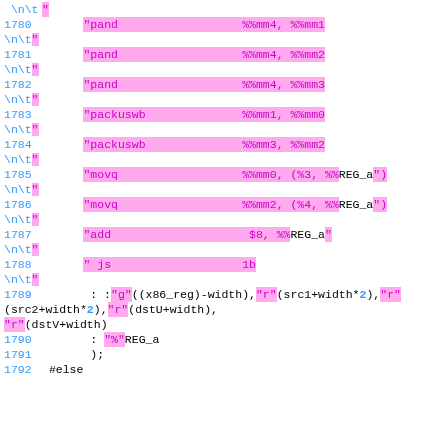code listing lines 1780-1792, assembly code with inline constraints
1780   "pand   %%mm4, %%mm1
\n\t"
1781   "pand   %%mm4, %%mm2
\n\t"
1782   "pand   %%mm4, %%mm3
\n\t"
1783   "packuswb   %%mm1, %%mm0
\n\t"
1784   "packuswb   %%mm3, %%mm2
\n\t"
1785   "movq   %%mm0, (%3, %%"REG_a")
\n\t"
1786   "movq   %%mm2, (%4, %%"REG_a")
\n\t"
1787   "add   $8, %%"REG_a
\n\t"
1788   " js   1b
\n\t"
1789   : : "g" ((x86_reg)-width), "r" (src1+width*2), "r" (src2+width*2), "r" (dstU+width), "r" (dstV+width)
1790   : "%"REG_a
1791   );
1792 #else